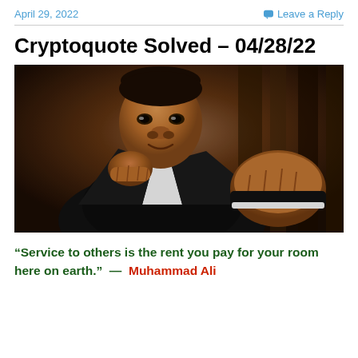April 29, 2022    Leave a Reply
Cryptoquote Solved – 04/28/22
[Figure (photo): Portrait photograph of Muhammad Ali in a suit, showing a boxing stance with both fists raised toward the camera, looking intensely at the viewer.]
“Service to others is the rent you pay for your room here on earth.”  —  Muhammad Ali